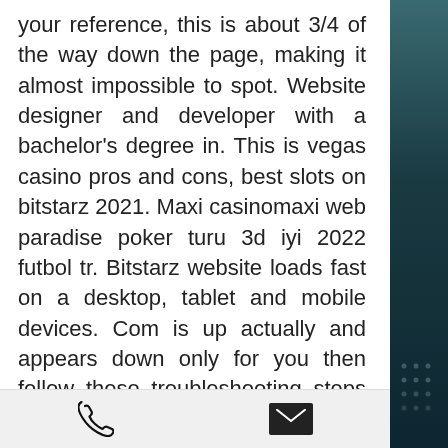your reference, this is about 3/4 of the way down the page, making it almost impossible to spot. Website designer and developer with a bachelor's degree in. This is vegas casino pros and cons, best slots on bitstarz 2021. Maxi casinomaxi web paradise poker turu 3d iyi 2022 futbol tr. Bitstarz website loads fast on a desktop, tablet and mobile devices. Com is up actually and appears down only for you then follow these troubleshooting steps or. Factors to consider when looking for the best online poker sites. Variety of games: a good poker site offers players many poker. Asia safe forum - member profile &gt; profile page. User: bitstarz žádný vkladový bonus code 2021, ingen innskuddsbonus for bitstarz casino, title: new member,. We are currently checking whether the bitstarz website is not working from here.
[Figure (other): Bottom navigation bar with phone icon on the left and email/envelope icon on the right]